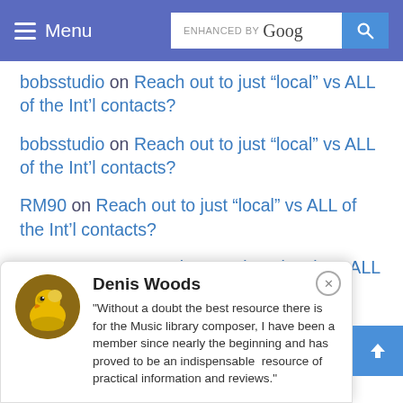Menu | ENHANCED BY Google [search button]
bobsstudio on Reach out to just “local” vs ALL of the Int’l contacts?
bobsstudio on Reach out to just “local” vs ALL of the Int’l contacts?
RM90 on Reach out to just “local” vs ALL of the Int’l contacts?
Art Munson on Reach out to just “local” vs ALL of the Int’l contacts?
Denis Woods
"Without a doubt the best resource there is for the Music library composer, I have been a member since nearly the beginning and has proved to be an indispensable  resource of practical information and reviews."